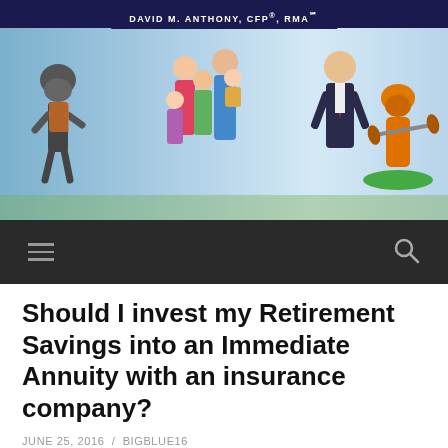DAVID M. ANTHONY, CFP®, RMA℠
[Figure (photo): Header photo collage showing various people including a rock climber, a family group, a professional in a suit, and a kayaker against a light blue sky background.]
Should I invest my Retirement Savings into an Immediate Annuity with an insurance company?
JUNE 25, 2016 / BIGBLUE16
A reader wrote in with this question.......see my answer below:
In the case of a retirement account, different kinds...